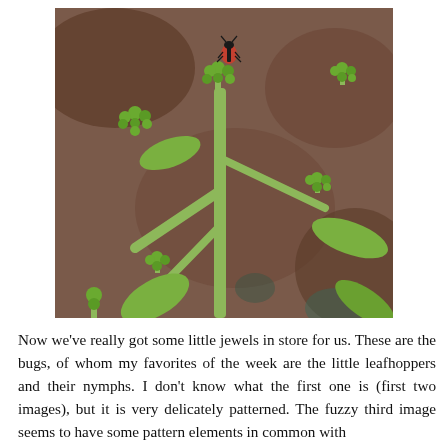[Figure (photo): Close-up photograph of a green plant with clusters of small rounded buds on branching stems, with a small beetle (reddish-brown and black) perched on the topmost bud cluster. Background is blurred brown and green.]
Now we've really got some little jewels in store for us. These are the bugs, of whom my favorites of the week are the little leafhoppers and their nymphs. I don't know what the first one is (first two images), but it is very delicately patterned. The fuzzy third image seems to have some pattern elements in common with